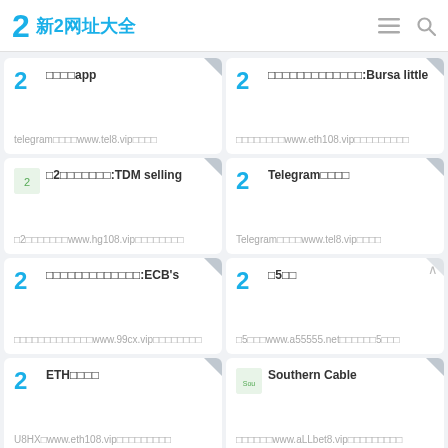2 新2网址大全
□□□□app
telegram□□□□www.tel8.vip□□□□
□□□□□□□□□□□□□:Bursa little
□□□□□□□□www.eth108.vip□□□□□□□□□
□2□□□□□□□:TDM selling
□2□□□□□□□www.hg108.vip□□□□□□□□
Telegram□□□□
Telegram□□□□www.tel8.vip□□□□
□□□□□□□□□□□□□:ECB's
□□□□□□□□□□□□□www.99cx.vip□□□□□□□□
□5□□
□5□□□www.a55555.net□□□□□□5□□□
ETH□□□□
U8HX□www.eth108.vip□□□□□□□□□
Southern Cable
□□□□□□www.aLLbet8.vip□□□□□□□□□